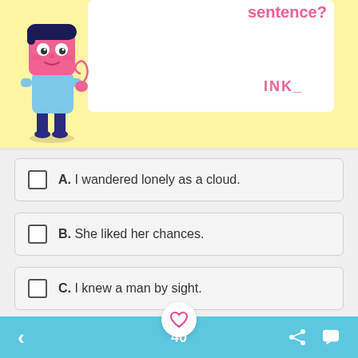[Figure (illustration): Cartoon character boy with pink square head, blue shirt, dark hair, standing on yellow background with a white answer box showing 'INK_' in pink text and partial question text 'sentence?' in pink.]
A. I wandered lonely as a cloud.
B. She liked her chances.
C. I knew a man by sight.
40